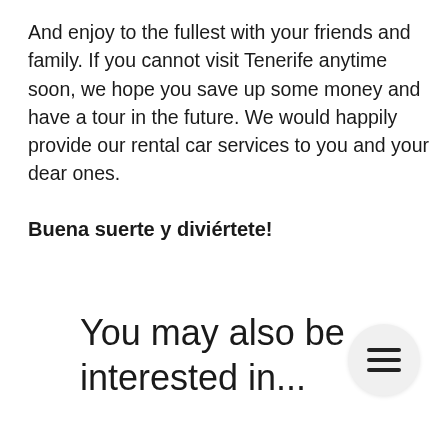And enjoy to the fullest with your friends and family. If you cannot visit Tenerife anytime soon, we hope you save up some money and have a tour in the future. We would happily provide our rental car services to you and your dear ones.
Buena suerte y diviértete!
You may also be interested in...
[Figure (other): Hamburger menu button — circular light gray button with three horizontal bars icon]